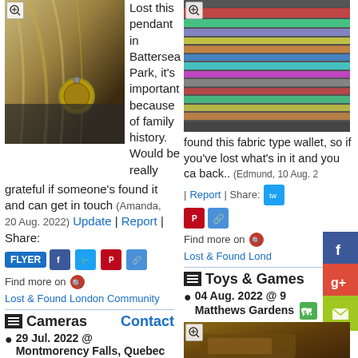[Figure (photo): Photo of a pendant with coins/charms on hair, close up]
Lost this pendant in Battersea Park, it's important because of family history. Would be really grateful if someone's found it and can get in touch (Amanda, 20 Aug. 2022)
Update | Report | Share: FLYER [social buttons]
Find more on Lost & Found London Community
[Figure (photo): Photo of colorful striped fabric/bracelets]
found this fabric type wallet, so if you've lost what's in it and you ca back.. (Edmund, 10 Aug. 2 | Report | Share: [social icons]
Find more on Lost & Found Lond
Cameras  Contact
29 Jul. 2022 @ Montmorency Falls, Quebec or Laval, Montreal
Toys & Games
04 Aug. 2022 @ Matthews Gardens
[Figure (photo): Colorful painting/artwork at bottom left]
I lost
[Figure (photo): Photo of wooden object at bottom right]